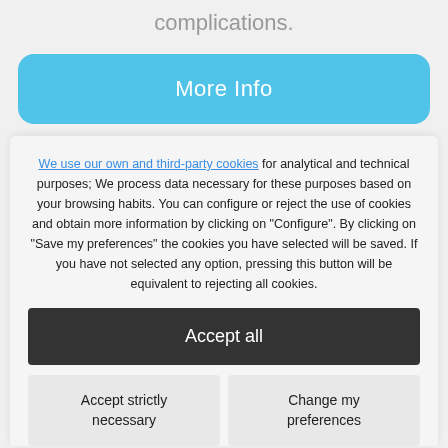complications.
More Info
We use our own and third-party cookies for analytical and technical purposes; We process data necessary for these purposes based on your browsing habits. You can configure or reject the use of cookies and obtain more information by clicking on "Configure". By clicking on "Save my preferences" the cookies you have selected will be saved. If you have not selected any option, pressing this button will be equivalent to rejecting all cookies.
Accept all
Accept strictly necessary
Change my preferences